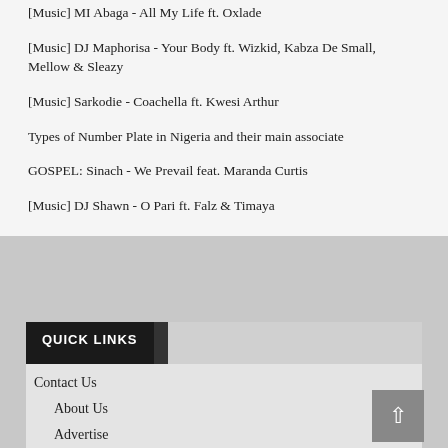[Music] MI Abaga - All My Life ft. Oxlade
[Music] DJ Maphorisa - Your Body ft. Wizkid, Kabza De Small, Mellow & Sleazy
[Music] Sarkodie - Coachella ft. Kwesi Arthur
Types of Number Plate in Nigeria and their main associate
GOSPEL: Sinach - We Prevail feat. Maranda Curtis
[Music] DJ Shawn - O Pari ft. Falz & Timaya
QUICK LINKS
Contact Us
About Us
Advertise
Disclaimer
Privacy Policy